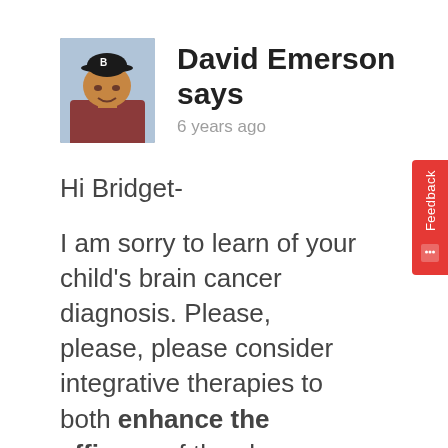[Figure (photo): Profile photo of a man wearing a black baseball cap, outdoors]
David Emerson says
6 years ago
Hi Bridget-
I am sorry to learn of your child's brain cancer diagnosis. Please, please, please consider integrative therapies to both enhance the efficacy of the chemo and radiation that your son endures but also to